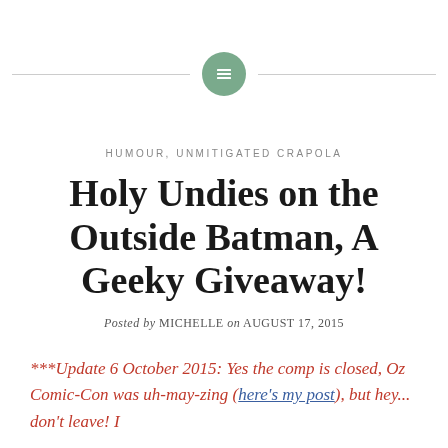[Figure (other): Decorative horizontal divider line with a green circle containing a menu/grid icon in the center]
HUMOUR, UNMITIGATED CRAPOLA
Holy Undies on the Outside Batman, A Geeky Giveaway!
Posted by MICHELLE on AUGUST 17, 2015
***Update 6 October 2015: Yes the comp is closed, Oz Comic-Con was uh-may-zing (here's my post), but hey... don't leave! I